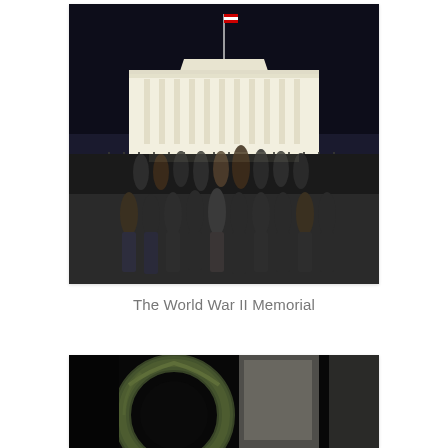[Figure (photo): Group photo of approximately 30 people standing in front of the illuminated White House at night. The White House is brightly lit with a flag on top.]
The World War II Memorial
[Figure (photo): Night photo at the World War II Memorial showing a large bronze wreath sculpture against dark concrete pillars and a very dark sky.]